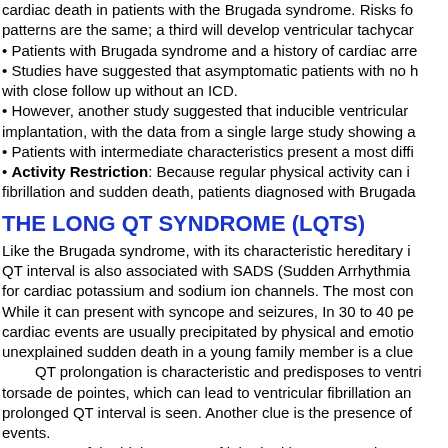cardiac death in patients with the Brugada syndrome. Risks for all three patterns are the same; a third will develop ventricular tachyca... • Patients with Brugada syndrome and a history of cardiac arre... • Studies have suggested that asymptomatic patients with no h... with close follow up without an ICD. • However, another study suggested that inducible ventricular... implantation, with the data from a single large study showing a... • Patients with intermediate characteristics present a most diffi... • Activity Restriction: Because regular physical activity can i... fibrillation and sudden death, patients diagnosed with Brugada...
THE LONG QT SYNDROME (LQTS)
Like the Brugada syndrome, with its characteristic hereditary i... QT interval is also associated with SADS (Sudden Arrhythmia... for cardiac potassium and sodium ion channels. The most con... While it can present with syncope and seizures, In 30 to 40 pe... cardiac events are usually precipitated by physical and emotio... unexplained sudden death in a young family member is a clue... QT prolongation is characteristic and predisposes to ventric... torsade de pointes, which can lead to ventricular fibrillation an... prolonged QT interval is seen. Another clue is the presence of... events. Some of the highest rates of inherited long QT syndrome o... The syndrome has more treatment options than the Brugad... drugs, permanent pacemakers, and implantable defibrillators.